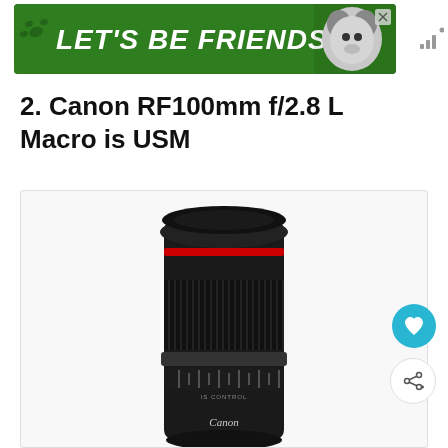[Figure (illustration): Advertisement banner with green background reading LET'S BE FRIENDS with a husky dog image on the right side]
2. Canon RF100mm f/2.8 L Macro is USM
[Figure (photo): Canon RF100mm f/2.8 L Macro IS USM lens standing upright, black with red ring near top, on white background]